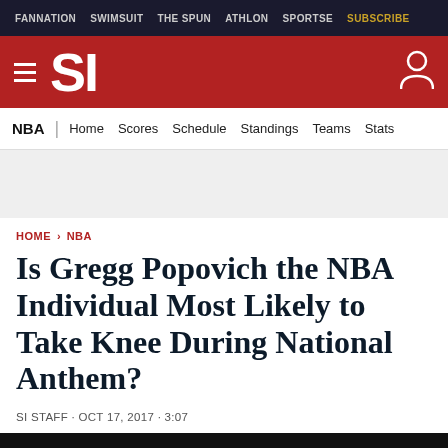FANNATION | SWIMSUIT | THE SPUN | ATHLON | SPORTSE | SUBSCRIBE
SI
NBA | Home | Scores | Schedule | Standings | Teams | Stats
HOME > NBA
Is Gregg Popovich the NBA Individual Most Likely to Take Knee During National Anthem?
SI STAFF · OCT 17, 2017 · 3:07